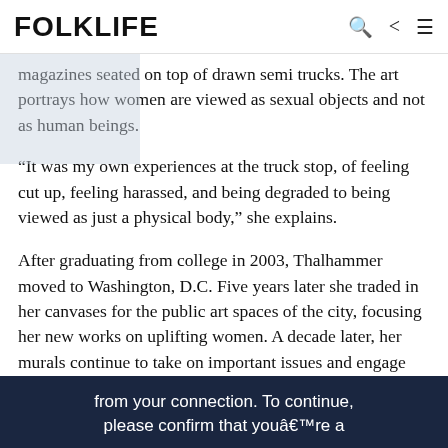FOLKLIFE
magazines seated on top of drawn semi trucks. The art portrays how women are viewed as sexual objects and not as human beings.
“It was my own experiences at the truck stop, of feeling cut up, feeling harassed, and being degraded to being viewed as just a physical body,” she explains.
After graduating from college in 2003, Thalhammer moved to Washington, D.C. Five years later she traded in her canvases for the public art spaces of the city, focusing her new works on uplifting women. A decade later, her murals continue to take on important issues and engage the surrounding communities.
from your connection. To continue, please confirm that youâre a